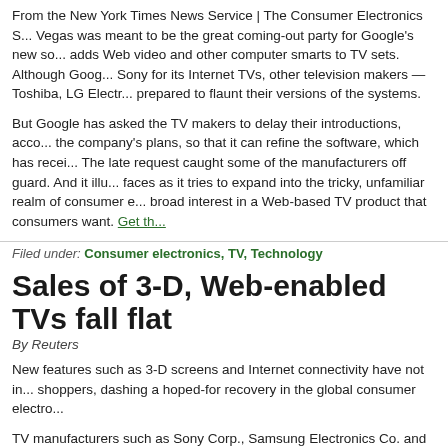From the New York Times News Service | The Consumer Electronics S... Vegas was meant to be the great coming-out party for Google's new so... adds Web video and other computer smarts to TV sets. Although Goog... Sony for its Internet TVs, other television makers — Toshiba, LG Electr... prepared to flaunt their versions of the systems.
But Google has asked the TV makers to delay their introductions, acco... the company's plans, so that it can refine the software, which has recei... The late request caught some of the manufacturers off guard. And it illu... faces as it tries to expand into the tricky, unfamiliar realm of consumer e... broad interest in a Web-based TV product that consumers want. Get th...
Filed under: Consumer electronics, TV, Technology
Sales of 3-D, Web-enabled TVs fall flat
By Reuters
New features such as 3-D screens and Internet connectivity have not in... shoppers, dashing a hoped-for recovery in the global consumer electro...
TV manufacturers such as Sony Corp., Samsung Electronics Co. and S... features such as razor-thin LED TVs are not enough to stage a comeba... the full story »